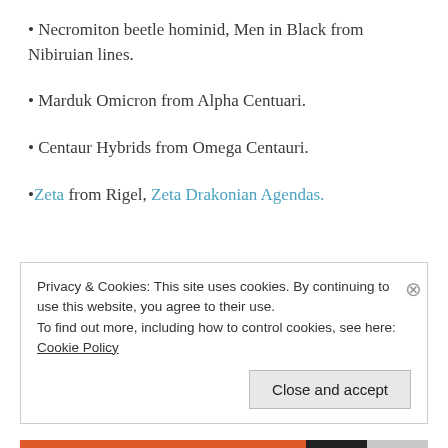• Necromiton beetle hominid, Men in Black from Nibiruian lines.
• Marduk Omicron from Alpha Centuari.
• Centaur Hybrids from Omega Centauri.
•Zeta from Rigel, Zeta Drakonian Agendas.
Privacy & Cookies: This site uses cookies. By continuing to use this website, you agree to their use.
To find out more, including how to control cookies, see here: Cookie Policy
Close and accept